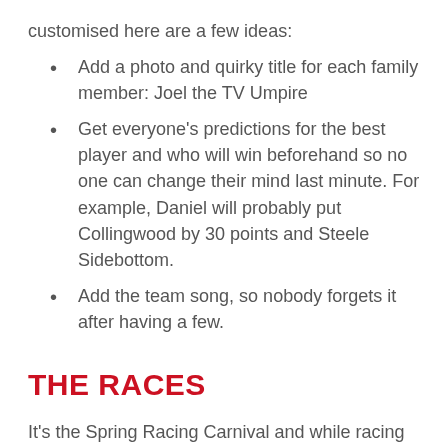customised here are a few ideas:
Add a photo and quirky title for each family member: Joel the TV Umpire
Get everyone's predictions for the best player and who will win beforehand so no one can change their mind last minute. For example, Daniel will probably put Collingwood by 30 points and Steele Sidebottom.
Add the team song, so nobody forgets it after having a few.
THE RACES
It's the Spring Racing Carnival and while racing has been running all year long it usually during spring that we dress up and place our bets. So while we don't have to get up and spend 3 hours in hair and makeup this year (it's ok Sarah) we can still cheer on the horses and have fresh